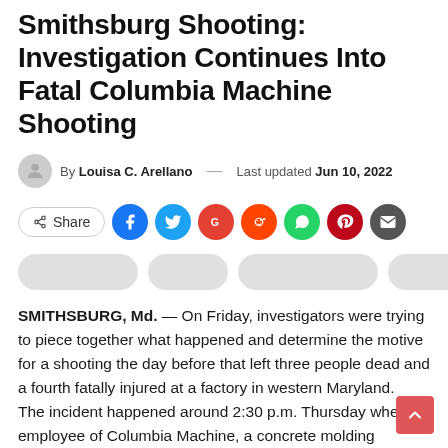Smithsburg Shooting: Investigation Continues Into Fatal Columbia Machine Shooting
By Louisa C. Arellano — Last updated Jun 10, 2022
[Figure (infographic): Social share buttons: Share, Facebook, Twitter, Google, Reddit, WhatsApp, Pinterest, Email]
[Figure (infographic): Four gray pill-shaped tag/category buttons]
SMITHSBURG, Md. — On Friday, investigators were trying to piece together what happened and determine the motive for a shooting the day before that left three people dead and a fourth fatally injured at a factory in western Maryland.
The incident happened around 2:30 p.m. Thursday when an employee of Columbia Machine, a concrete molding company in Smithsburg, shot and killed his co-workers, authorities said.
The suspect drove away but was arrested shortly after just outside Hagerstown, about 10 miles from Smithsburg, according